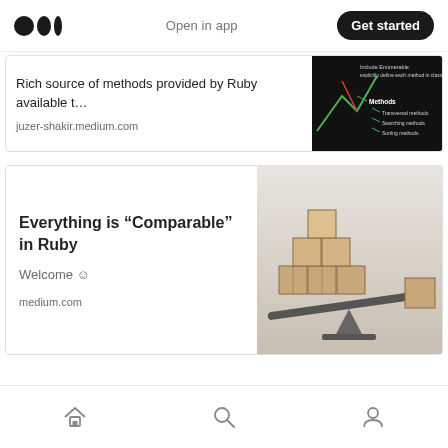Open in app  Get started
Rich source of methods provided by Ruby available t...
juzer-shakir.medium.com
[Figure (screenshot): Dark background screenshot showing Ruby Enumerable methods diagram with green lines, listing Include Enumerable, explicitly define each method in class, Methods, Transversal methods, Searching methods, Sorting methods]
Everything is “Comparable” in Ruby
Welcome ☺
medium.com
[Figure (photo): Photo of cardboard boxes stacked on a balance/seesaw, with boxes stacked in a pyramid on the left side and one box on the right side, on a light gray background]
Home  Search  Profile